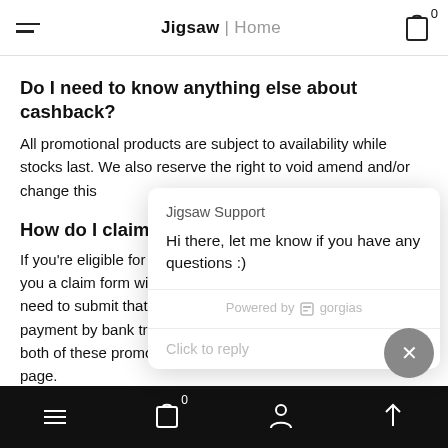Jigsaw Home
Do I need to know anything else about cashback?
All promotional products are subject to availability while stocks last. We also reserve the right to void amend and/or change this
How do I claim my B
If you're eligible for you a claim form wi need to submit that payment by bank tr both of these promo page.
[Figure (screenshot): Chat popup from Jigsaw Support: 'Hi there, let me know if you have any questions :)'. Powered by gorgias. Click to reply input area.]
Prior To Delivery
Bottom navigation bar with hamburger menu, cart (0), user icon, and up arrow